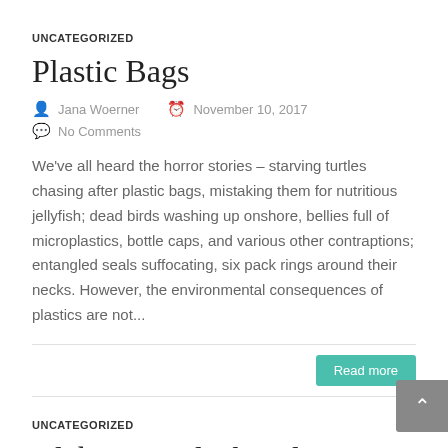UNCATEGORIZED
Plastic Bags
Jana Woerner   November 10, 2017
No Comments
We've all heard the horror stories – starving turtles chasing after plastic bags, mistaking them for nutritious jellyfish; dead birds washing up onshore, bellies full of microplastics, bottle caps, and various other contraptions; entangled seals suffocating, six pack rings around their necks. However, the environmental consequences of plastics are not...
Read more
UNCATEGORIZED
Alabama's Black Belt